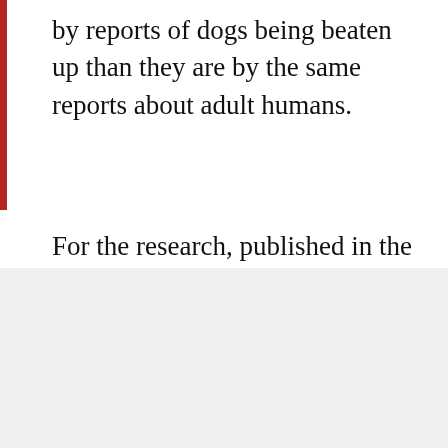by reports of dogs being beaten up than they are by the same reports about adult humans.
For the research, published in the journal Society & Animals, they presented 240 students with a fake newspaper clipping. The doggy got more contributions.